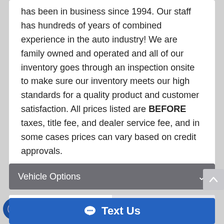has been in business since 1994. Our staff has hundreds of years of combined experience in the auto industry! We are family owned and operated and all of our inventory goes through an inspection onsite to make sure our inventory meets our high standards for a quality product and customer satisfaction. All prices listed are BEFORE taxes, title fee, and dealer service fee, and in some cases prices can vary based on credit approvals.
Vehicle Options
Inquiry
Payment
Text Us